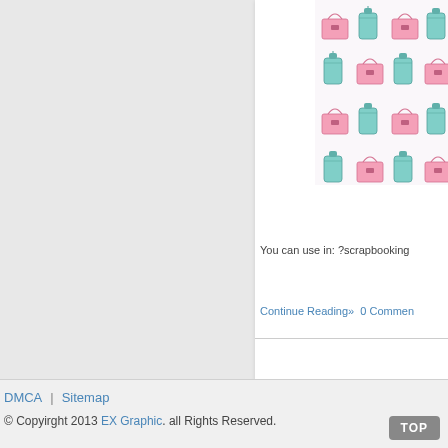[Figure (illustration): Pattern of pink handbags and teal/mint drinking cups repeated across a white background]
You can use in: ?scrapbooking
Continue Reading»  0 Comments
DMCA | Sitemap
© Copyirght 2013 EX Graphic. all Rights Reserved.
TOP